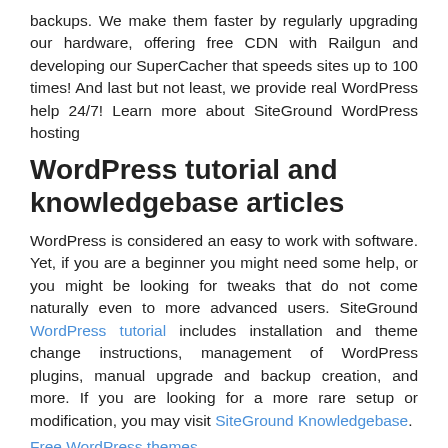backups. We make them faster by regularly upgrading our hardware, offering free CDN with Railgun and developing our SuperCacher that speeds sites up to 100 times! And last but not least, we provide real WordPress help 24/7! Learn more about SiteGround WordPress hosting
WordPress tutorial and knowledgebase articles
WordPress is considered an easy to work with software. Yet, if you are a beginner you might need some help, or you might be looking for tweaks that do not come naturally even to more advanced users. SiteGround WordPress tutorial includes installation and theme change instructions, management of WordPress plugins, manual upgrade and backup creation, and more. If you are looking for a more rare setup or modification, you may visit SiteGround Knowledgebase.
Free WordPress themes
SiteGround experts not only develop various solutions for WordPress sites, but also create unique designs that you could download for free. SiteGround WordPress themes are great starting points for the creation of...